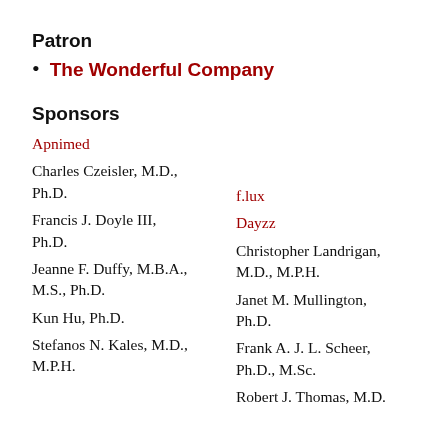Patron
The Wonderful Company
Sponsors
Apnimed
Charles Czeisler, M.D., Ph.D.
Francis J. Doyle III, Ph.D.
Jeanne F. Duffy, M.B.A., M.S., Ph.D.
Kun Hu, Ph.D.
Stefanos N. Kales, M.D., M.P.H.
f.lux
Dayzz
Christopher Landrigan, M.D., M.P.H.
Janet M. Mullington, Ph.D.
Frank A. J. L. Scheer, Ph.D., M.Sc.
Robert J. Thomas, M.D.